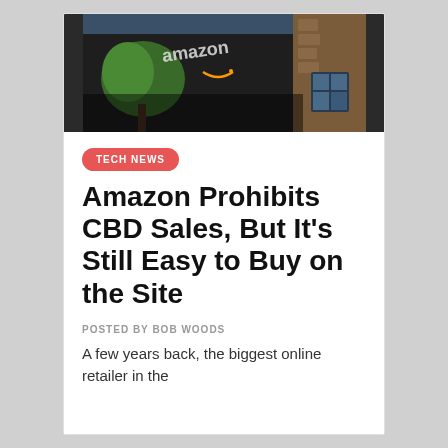[Figure (photo): Amazon building exterior with Amazon logo sign on a dark wall, green tree visible, daytime photo]
TECH NEWS
Amazon Prohibits CBD Sales, But It's Still Easy to Buy on the Site
POSTED BY BOB WOODS
A few years back, the biggest online retailer in the